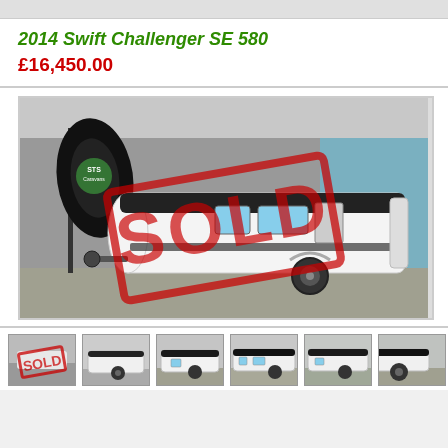2014 Swift Challenger SE 580
£16,450.00
[Figure (photo): Photo of a 2014 Swift Challenger SE 580 caravan with a large red SOLD stamp overlay. A dark teardrop-shaped banner with the STS Caravans logo stands beside it. The white caravan with black accents is parked on a concrete surface in front of a grey building.]
[Figure (photo): Thumbnail 1: Same caravan image with SOLD stamp]
[Figure (photo): Thumbnail 2: Rear/side view of the caravan]
[Figure (photo): Thumbnail 3: Front side view of caravan]
[Figure (photo): Thumbnail 4: Side profile of caravan]
[Figure (photo): Thumbnail 5: Side profile, different angle]
[Figure (photo): Thumbnail 6: Partial view, wheel/side detail]